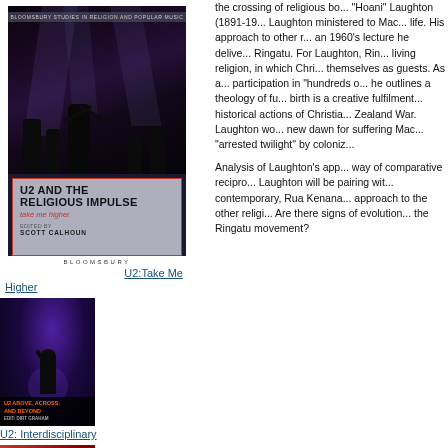[Figure (photo): Book cover: U2 and the Religious Impulse – Take Me Higher, edited by Scott Calhoun. Bloomsbury Studies in Religion and Popular Music series. Dark concert photo background with figures on stage.]
BLOOMSBURY
U2:Take Me Higher
Higher
[Figure (photo): Book cover: U2 Above, Across, and Beyond. Dark blue/purple background with silhouette figure.]
U2: Interdisciplinary
[Figure (photo): Book cover: Colonial Contexts and Postcolonial Theologies. Red background with circle design.]
the crossing of religious bo... "Hoani" Laughton (1891-19... Laughton ministered to Mac... life. His approach to other r... an 1960's lecture he delive... Ringatu. For Laughton, Rin... living religion, in which Chri... themselves as guests. As a... participation in "hundreds o... he outlines a theology of fu... birth is a creative fulfilment... historical actions of Christia... Zealand War. Laughton wo... new dawn for suffering Mac... "arrested twilight" by coloniz...
Analysis of Laughton's app... way of comparative recipro... Laughton will be pairing wit... contemporary, Rua Kenana... approach to the other religi... Are there signs of evolution... the Ringatu movement?